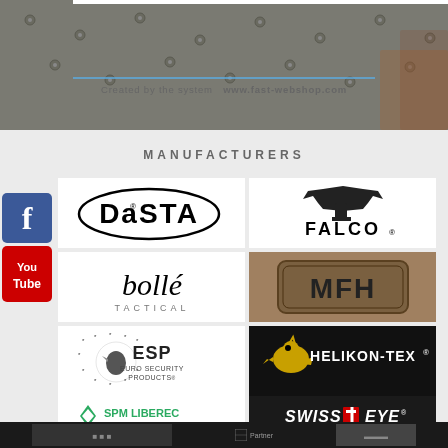[Figure (photo): Textured metal/concrete background with rivets, grey tones, forming top banner section]
Created by the system  www.fast-webshop.com
MANUFACTURERS
[Figure (logo): Facebook logo icon (blue)]
[Figure (logo): YouTube logo icon (red)]
[Figure (logo): DASTA logo - black oval border with DASTA text and registered trademark symbol]
[Figure (logo): FALCO logo - black silhouette of bird/falcon with FALCO text and registered trademark]
[Figure (logo): bollé TACTICAL logo - cursive bolle with accent and TACTICAL text below]
[Figure (logo): MFH logo in camouflage/military style rectangular badge]
[Figure (logo): ESP EURO SECURITY PRODUCTS logo with eagle graphic and star circle]
[Figure (logo): HELIKON-TEX logo with chameleon graphic on dark background]
[Figure (logo): SPM LIBEREC Special Product Manufacturing logo with diamond/arrow mark]
[Figure (logo): SWISS EYE logo with Swiss cross on dark background]
Partner